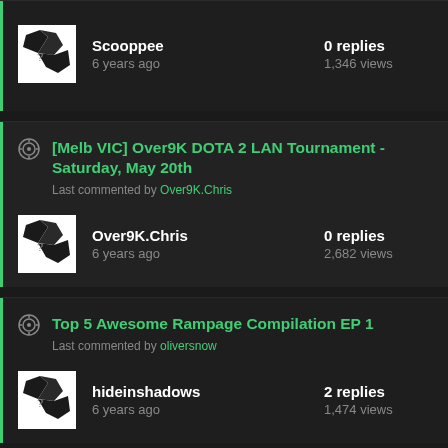Scooppee · 6 years ago · 0 replies · 1,346 views
[Melb VIC] Over9K DOTA 2 LAN Tournament - Saturday, May 20th
Last commented by Over9K.Chris
Over9K.Chris · 6 years ago · 0 replies · 2,682 views
Top 5 Awesome Rampage Compilation EP 1
Last commented by oliversnow
hideinshadows · 6 years ago · 2 replies · 1,474 views